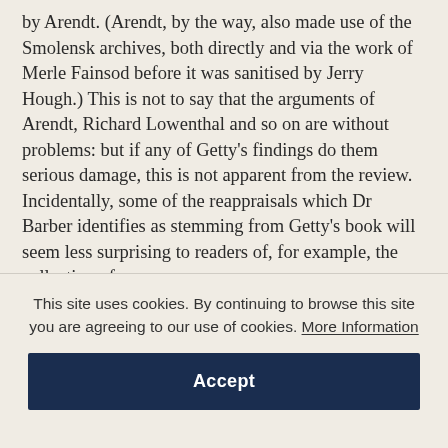by Arendt. (Arendt, by the way, also made use of the Smolensk archives, both directly and via the work of Merle Fainsod before it was sanitised by Jerry Hough.) This is not to say that the arguments of Arendt, Richard Lowenthal and so on are without problems: but if any of Getty's findings do them serious damage, this is not apparent from the review. Incidentally, some of the reappraisals which Dr Barber identifies as stemming from Getty's book will seem less surprising to readers of, for example, the collection of essays on
This site uses cookies. By continuing to browse this site you are agreeing to our use of cookies. More Information
Accept